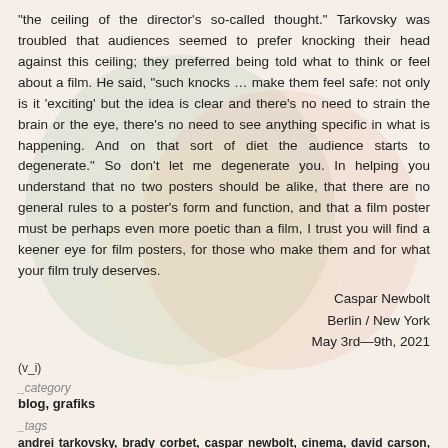“the ceiling of the director’s so-called thought.” Tarkovsky was troubled that audiences seemed to prefer knocking their head against this ceiling; they preferred being told what to think or feel about a film. He said, “such knocks … make them feel safe: not only is it ‘exciting’ but the idea is clear and there’s no need to strain the brain or the eye, there’s no need to see anything specific in what is happening. And on that sort of diet the audience starts to degenerate.” So don’t let me degenerate you. In helping you understand that no two posters should be alike, that there are no general rules to a poster’s form and function, and that a film poster must be perhaps even more poetic than a film, I trust you will find a keener eye for film posters, for those who make them and for what your film truly deserves.
Caspar Newbolt
Berlin / New York
May 3rd—9th, 2021
(v_i)
_category
blog, grafiks
_tags
andrei tarkovsky, brady corbet, caspar newbolt, cinema, david carson, design, design thinking, drawing, ecstatic static, essay, film, film posters, graphic design, hans hillmann, jackson pollock, jason evans, movie poster of the day